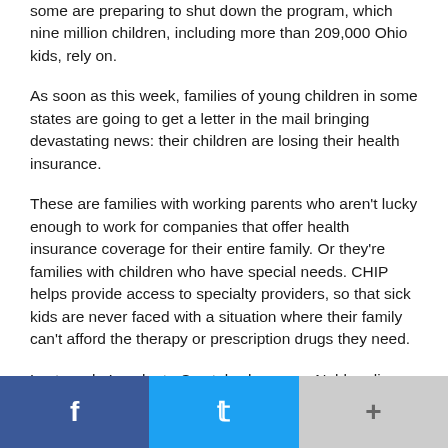some are preparing to shut down the program, which nine million children, including more than 209,000 Ohio kids, rely on.
As soon as this week, families of young children in some states are going to get a letter in the mail bringing devastating news: their children are losing their health insurance.
These are families with working parents who aren't lucky enough to work for companies that offer health insurance coverage for their entire family. Or they're families with children who have special needs. CHIP helps provide access to specialty providers, so that sick kids are never faced with a situation where their family can't afford the therapy or prescription drugs they need.
Last week, I spoke to Crystal, whose son Noble relies on CHIP to cover the five pediatric specialists he sees at Nationwide Children's Hospital in Columbus. She told me
Facebook | Twitter | +